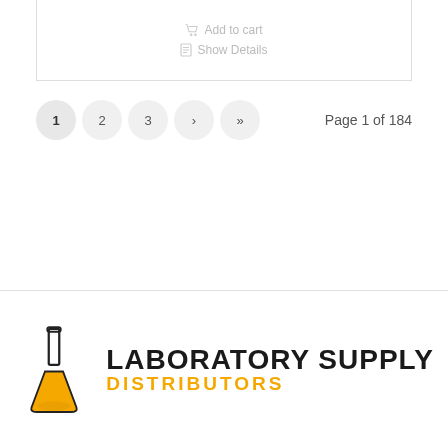Add to cart
Show Details
1  2  3  ›  »   Page 1 of 184
[Figure (logo): Laboratory Supply Distributors logo with a yellow Erlenmeyer flask icon and bold text reading LABORATORY SUPPLY in black and DISTRIBUTORS in orange/yellow]